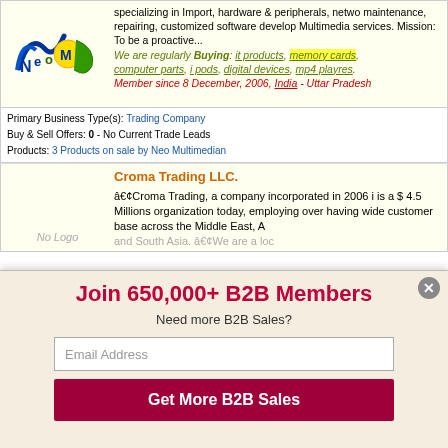[Figure (logo): NEOM company logo with blue swoosh and yellow/green circles]
specializing in Import, hardware & peripherals, netwo maintenance, repairing, customized software develop Multimedia services. Mission: To be a proactive... We are regularly Buying: it products, memory cards, computer parts, i pods, digital devices, mp4 playres. Member since 8 December, 2006, India - Uttar Pradesh
Primary Business Type(s): Trading Company
Buy & Sell Offers: 0 - No Current Trade Leads
Products: 3 Products on sale by Neo Multimedian
Croma Trading LLC.
•Croma Trading, a company incorporated in 2006 is a $ 4.5 Millions organization today, employing over having wide customer base across the Middle East, A and South Asia. •We are a loc
Join 650,000+ B2B Members
Need more B2B Sales?
Email Address
Get More B2B Sales